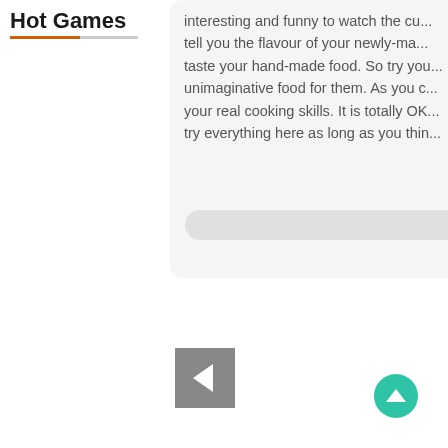Hot Games
interesting and funny to watch the cu... tell you the flavour of your newly-ma... taste your hand-made food. So try you... unimaginative food for them. As you c... your real cooking skills. It is totally OK... try everything here as long as you thin...
[Figure (screenshot): A grey rounded input/search bar element]
[Figure (screenshot): A grey square back navigation button with a left-pointing chevron arrow]
[Figure (screenshot): A teal/green circular scroll-to-top button with an upward chevron arrow]